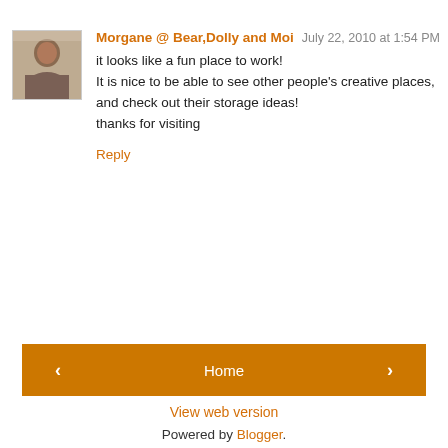[Figure (photo): Small avatar photo of a woman]
Morgane @ Bear,Dolly and Moi July 22, 2010 at 1:54 PM
it looks like a fun place to work!
It is nice to be able to see other people's creative places, and check out their storage ideas!
thanks for visiting
Reply
Home
View web version
Powered by Blogger.